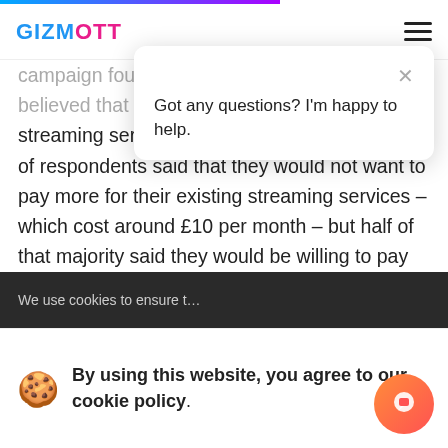GIZMOTT
campaign found that 71% of consumers believed that streaming services underpaid artists. A majority of respondents said that they would not want to pay more for their existing streaming services – which cost around £10 per month – but half of that majority said they would be willing to pay more if their subscription directly benefited the artists and songwriters they listen to.
We use cookies to ensure t...
By using this website, you agree to our cookie policy.
[Figure (screenshot): Chat popup widget with blue arrow logo icon and message: Got any questions? I'm happy to help.]
[Figure (illustration): Orange/red gradient circular chat button in bottom right corner]